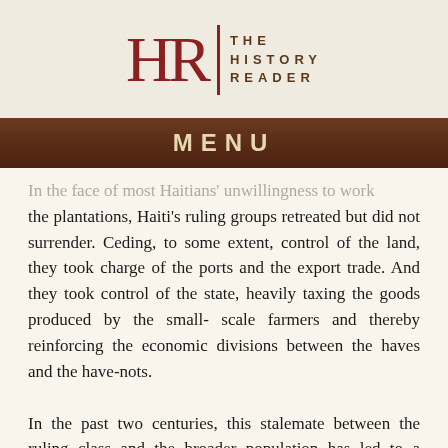[Figure (logo): The History Reader logo — stylized HR monogram in dark red with vertical divider bar and 'THE HISTORY READER' text in brown capitals]
MENU
In the face of most Haitians' unwillingness to work the plantations, Haiti's ruling groups retreated but did not surrender. Ceding, to some extent, control of the land, they took charge of the ports and the export trade. And they took control of the state, heavily taxing the goods produced by the small-scale farmers and thereby reinforcing the economic divisions between the haves and the have-nots.
In the past two centuries, this stalemate between the ruling class and the broader population has led to a devastating set of authoritarian political habits. Over time—often convinced that the masses were simply not ready to participate in political life—the Haitian governing elites crafted state institutions that excluded most Haitians from formal political